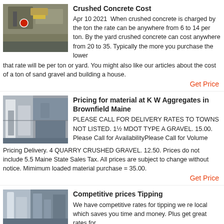[Figure (photo): Industrial concrete crushing machine in operation outdoors]
Crushed Concrete Cost
Apr 10 2021  When crushed concrete is charged by the ton the rate can be anywhere from 6 to 14 per ton. By the yard crushed concrete can cost anywhere from 20 to 35. Typically the more you purchase the lower that rate will be per ton or yard. You might also like our articles about the cost of a ton of sand gravel and building a house.
Get Price
[Figure (photo): Industrial aggregate processing facility with large equipment]
Pricing for material at K W Aggregates in Brownfield Maine
PLEASE CALL FOR DELIVERY RATES TO TOWNS NOT LISTED. 1½ MDOT TYPE A GRAVEL. 15.00. Please Call for AvailabilityPlease Call for Volume Pricing Delivery. 4 QUARRY CRUSHED GRAVEL. 12.50. Prices do not include 5.5 Maine State Sales Tax. All prices are subject to change without notice. Mimimum loaded material purchase = 35.00.
Get Price
[Figure (photo): Industrial facility with pipes and equipment]
Competitive prices Tipping
We have competitive rates for tipping we re local which saves you time and money. Plus get great rates for